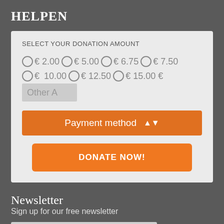HELPEN
SELECT YOUR DONATION AMOUNT
€ 2.00  € 5.00  € 6.75  € 7.50  € 10.00  € 12.50  € 15.00  € Other A
Payment method
DONATE NOW!
Newsletter
Sign up for our free newsletter
Email Address *